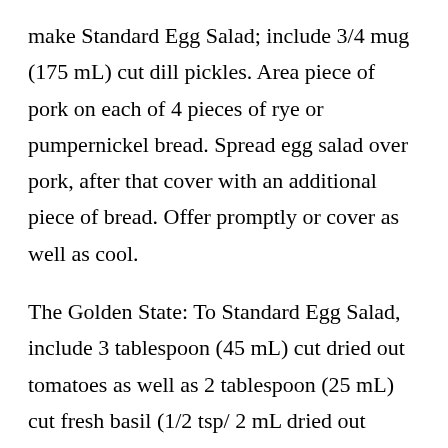make Standard Egg Salad; include 3/4 mug (175 mL) cut dill pickles. Area piece of pork on each of 4 pieces of rye or pumpernickel bread. Spread egg salad over pork, after that cover with an additional piece of bread. Offer promptly or cover as well as cool.
The Golden State: To Standard Egg Salad, include 3 tablespoon (45 mL) cut dried out tomatoes as well as 2 tablespoon (25 mL) cut fresh basil (1/2 tsp/ 2 mL dried out basil). Divide 4 crusty rolls or reduce 4 pita breads